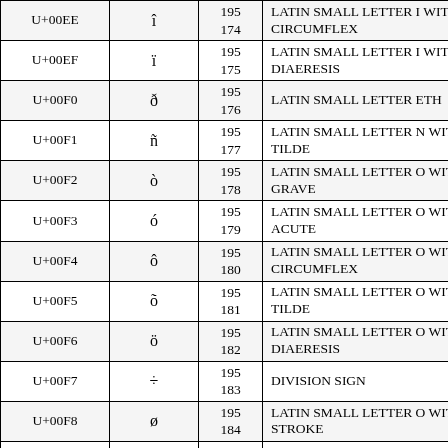| Unicode | Glyph | Bytes | Name |
| --- | --- | --- | --- |
| U+00EE | î | 195
174 | LATIN SMALL LETTER I WITH CIRCUMFLEX |
| U+00EF | ï | 195
175 | LATIN SMALL LETTER I WITH DIAERESIS |
| U+00F0 | ð | 195
176 | LATIN SMALL LETTER ETH |
| U+00F1 | ñ | 195
177 | LATIN SMALL LETTER N WITH TILDE |
| U+00F2 | ò | 195
178 | LATIN SMALL LETTER O WITH GRAVE |
| U+00F3 | ó | 195
179 | LATIN SMALL LETTER O WITH ACUTE |
| U+00F4 | ô | 195
180 | LATIN SMALL LETTER O WITH CIRCUMFLEX |
| U+00F5 | õ | 195
181 | LATIN SMALL LETTER O WITH TILDE |
| U+00F6 | ö | 195
182 | LATIN SMALL LETTER O WITH DIAERESIS |
| U+00F7 | ÷ | 195
183 | DIVISION SIGN |
| U+00F8 | ø | 195
184 | LATIN SMALL LETTER O WITH STROKE |
| U+00F9 | ù | 195
185 | LATIN SMALL LETTER U WITH GRAVE |